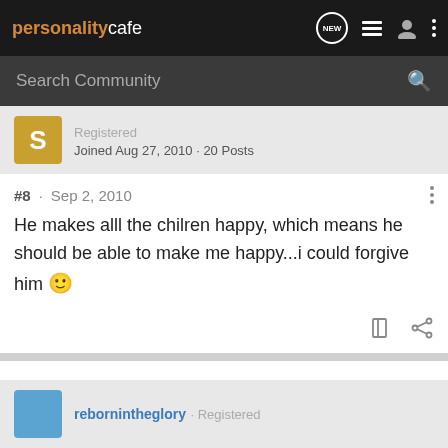personality cafe
Search Community
Joined Aug 27, 2010 · 20 Posts
#8 · Sep 2, 2010
He makes alll the chilren happy, which means he should be able to make me happy...i could forgive him 🙂
rebornintheglory · Registered